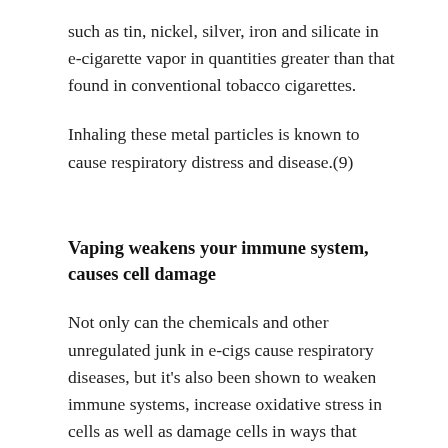such as tin, nickel, silver, iron and silicate in e-cigarette vapor in quantities greater than that found in conventional tobacco cigarettes.
Inhaling these metal particles is known to cause respiratory distress and disease.(9)
Vaping weakens your immune system, causes cell damage
Not only can the chemicals and other unregulated junk in e-cigs cause respiratory diseases, but it's also been shown to weaken immune systems, increase oxidative stress in cells as well as damage cells in ways that could lead to...